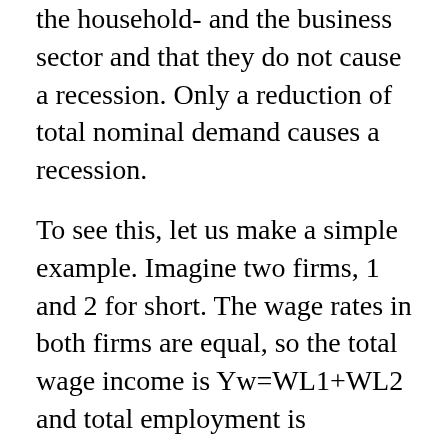the household- and the business sector and that they do not cause a recession. Only a reduction of total nominal demand causes a recession.
To see this, let us make a simple example. Imagine two firms, 1 and 2 for short. The wage rates in both firms are equal, so the total wage income is Yw=WL1+WL2 and total employment is L=L1+L2.
In the initial period, the respective prices are equal to unit wage costs, i.e. P1=W/R1 and P2=W/R2. Therefore, the profit in both firms is initially